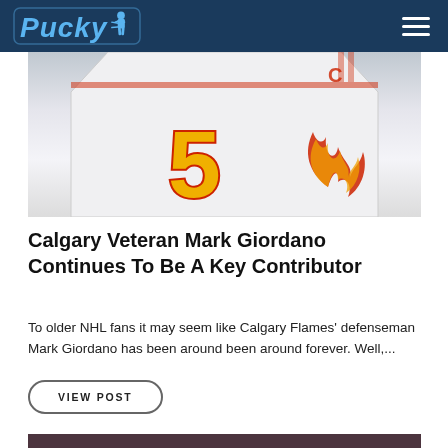Pucky [logo with hockey player icon] [hamburger menu]
[Figure (photo): Calgary Flames jersey with number 5 and captain C, white jersey with Flames logo visible]
Calgary Veteran Mark Giordano Continues To Be A Key Contributor
To older NHL fans it may seem like Calgary Flames' defenseman Mark Giordano has been around been around forever. Well,...
VIEW POST
[Figure (photo): Hockey player wearing dark helmet with visor, looking forward, arena seating visible in background]